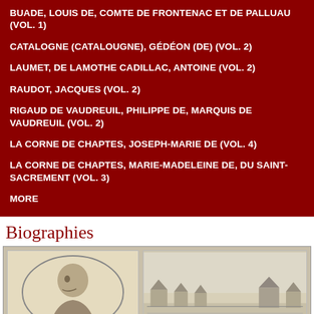BUADE, LOUIS DE, COMTE DE FRONTENAC ET DE PALLUAU (VOL. 1)
CATALOGNE (CATALOUGNE), GÉDÉON (DE) (VOL. 2)
LAUMET, DE LAMOTHE CADILLAC, ANTOINE (VOL. 2)
RAUDOT, JACQUES (VOL. 2)
RIGAUD DE VAUDREUIL, PHILIPPE DE, MARQUIS DE VAUDREUIL (VOL. 2)
LA CORNE DE CHAPTES, JOSEPH-MARIE DE (VOL. 4)
LA CORNE DE CHAPTES, MARIE-MADELEINE DE, DU SAINT-SACREMENT (VOL. 3)
MORE
Biographies
[Figure (photo): Portrait illustration of a historical figure shown in profile within an oval frame, on a cream/beige background]
[Figure (illustration): Historical landscape drawing showing a settlement or fort with buildings and structures near water]